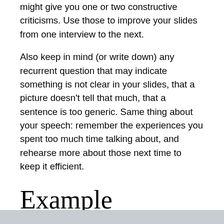might give you one or two constructive criticisms. Use those to improve your slides from one interview to the next.
Also keep in mind (or write down) any recurrent question that may indicate something is not clear in your slides, that a picture doesn't tell that much, that a sentence is too generic. Same thing about your speech: remember the experiences you spent too much time talking about, and rehearse more about those next time to keep it efficient.
Example
I have slideshared the last version of my slides, very similar to the ones I used to convince...